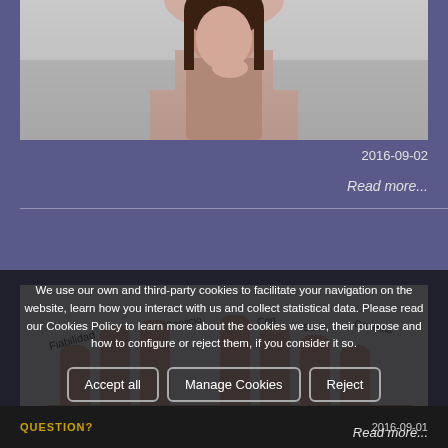[Figure (photo): Photo of a young woman with dark hair, hand on chin, thinking pose, gray background]
2016-09-02
Read more...
[Figure (photo): Photo of a hand with Spanish words written on fingers: Fiabilidad, Servicio, Garantia, and others]
We use our own and third-party cookies to facilitate your navigation on the website, learn how you interact with us and collect statistical data. Please read our Cookies Policy to learn more about the cookies we use, their purpose and how to configure or reject them, if you consider it so.
Accept all
Manage Cookies
Reject
QUESTION?
2016-09-01
Read more...